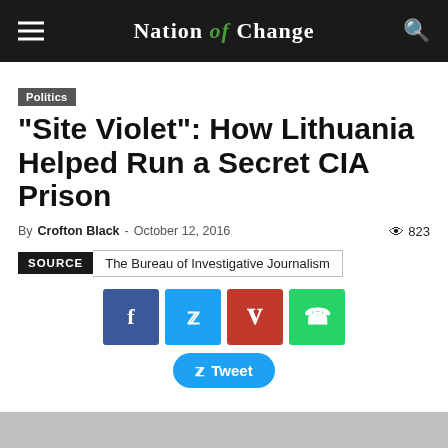Nation of Change
Politics
“Site Violet”: How Lithuania Helped Run a Secret CIA Prison
By Crofton Black - October 12, 2016    823
SOURCE   The Bureau of Investigative Journalism
[Figure (other): Social media share buttons: Facebook, Twitter, Pinterest, WhatsApp, and Tweet button]
[Figure (photo): Partial photo visible at the bottom of the page]